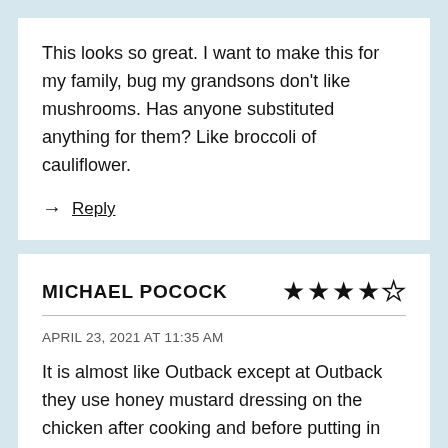This looks so great. I want to make this for my family, bug my grandsons don't like mushrooms. Has anyone substituted anything for them? Like broccoli of cauliflower.
→ Reply
MICHAEL POCOCK
APRIL 23, 2021 AT 11:35 AM
It is almost like Outback except at Outback they use honey mustard dressing on the chicken after cooking and before putting in the broiler.
→ Reply